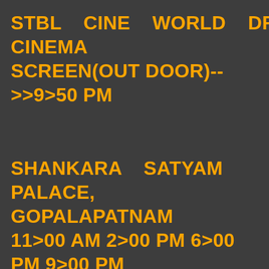STBL CINE WORLD DRIVE IN CINEMA
SCREEN(OUT DOOR)-->>9>50 PM
SHANKARA SATYAM PICTURE PALACE, GOPALAPATNAM
11>00 AM 2>00 PM 6>00 PM 9>00 PM